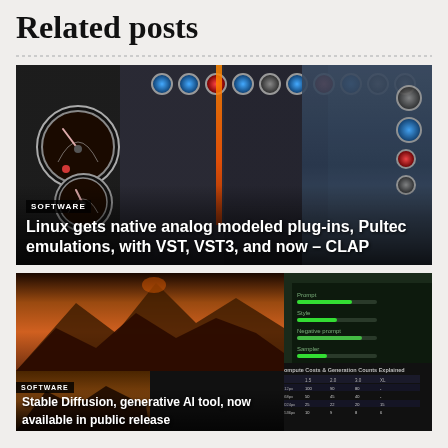Related posts
[Figure (screenshot): Audio plugin software screenshot showing analog modeled plug-ins with VU meters, knobs, faders, and EQ controls in dark UI]
SOFTWARE
Linux gets native analog modeled plug-ins, Pultec emulations, with VST, VST3, and now – CLAP
[Figure (screenshot): AI image generation tool screenshot with landscape mountain images and a settings/compute panel on the right side]
SOFTWARE
Stable Diffusion, generative AI tool, now available in public release